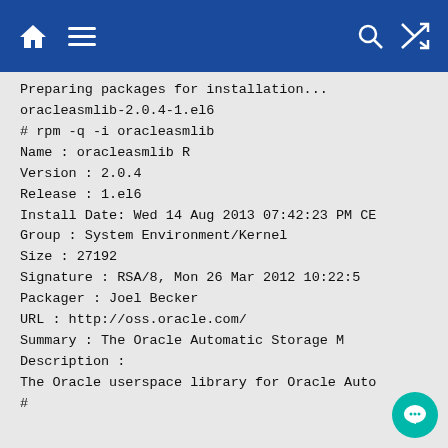Navigation bar with home, menu, search, and shuffle icons
Preparing packages for installation...
oracleasmlib-2.0.4-1.el6
# rpm -q -i oracleasmlib
Name          : oracleasmlib                  R
Version       : 2.0.4
Release       : 1.el6
Install Date: Wed 14 Aug 2013 07:42:23 PM CE
Group         : System Environment/Kernel
Size          : 27192
Signature     : RSA/8, Mon 26 Mar 2012 10:22:5
Packager      : Joel Becker
URL           : http://oss.oracle.com/
Summary       : The Oracle Automatic Storage M
Description :
The Oracle userspace library for Oracle Auto
#